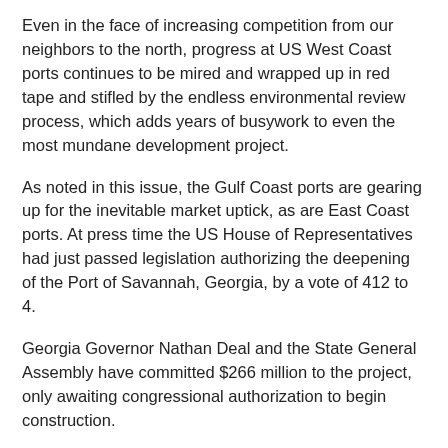Even in the face of increasing competition from our neighbors to the north, progress at US West Coast ports continues to be mired and wrapped up in red tape and stifled by the endless environmental review process, which adds years of busywork to even the most mundane development project.
As noted in this issue, the Gulf Coast ports are gearing up for the inevitable market uptick, as are East Coast ports. At press time the US House of Representatives had just passed legislation authorizing the deepening of the Port of Savannah, Georgia, by a vote of 412 to 4.
Georgia Governor Nathan Deal and the State General Assembly have committed $266 million to the project, only awaiting congressional authorization to begin construction.
The project would deepen the Savannah River from 42 feet to 47 feet, to accommodate larger container ships expected to call from Asia through the Panama Canal, and in February of 2016, the Port of Savannah will take delivery of four additional super post-Panamax container cranes and 20 new